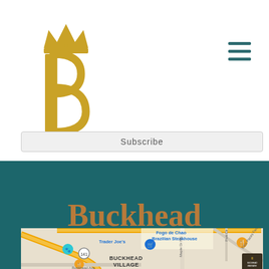[Figure (logo): Buckhead Massage logo: golden crown over stylized B letter in gold]
[Figure (other): Hamburger menu icon (three horizontal lines) in teal color]
Subscribe
Buckhead
[Figure (map): Google Maps screenshot showing Buckhead Village area in Atlanta, with markers for Trader Joe's, Fogo de Chao Brazilian Steakhouse, and other locations. Streets include Maple Dr NE, East Paces Ferry Rd NE, Buckhead Ave. Area labeled BUCKHEAD VILLAGE. Road 141 visible. Small Buckhead Massage logo overlay in bottom right.]